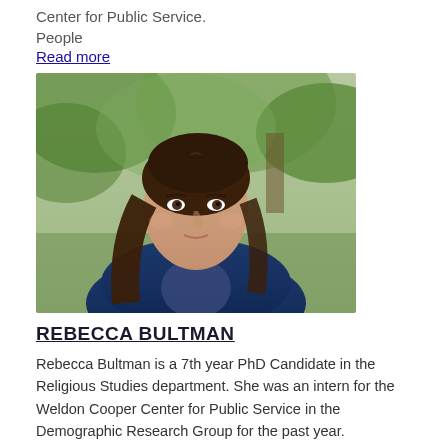Center for Public Service.
People
Read more
[Figure (photo): Professional headshot of Rebecca Bultman, a young woman with long brown hair wearing a navy blazer, photographed outdoors with green foliage in the background.]
REBECCA BULTMAN
Rebecca Bultman is a 7th year PhD Candidate in the Religious Studies department. She was an intern for the Weldon Cooper Center for Public Service in the Demographic Research Group for the past year.